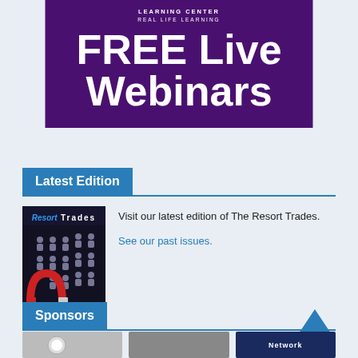[Figure (illustration): Purple banner with 'LEARNING CENTER - REAL LIFE LEARNING' subtitle and 'FREE Live Webinars' in large white bold text]
Latest Edition
[Figure (illustration): Magazine cover for Resort Trades with dark background showing human icons and a red magnet]
Visit our latest edition of The Resort Trades.
See our past issues.
Sponsors
[Figure (illustration): Three sponsor logo placeholders in a row at the bottom of the page]